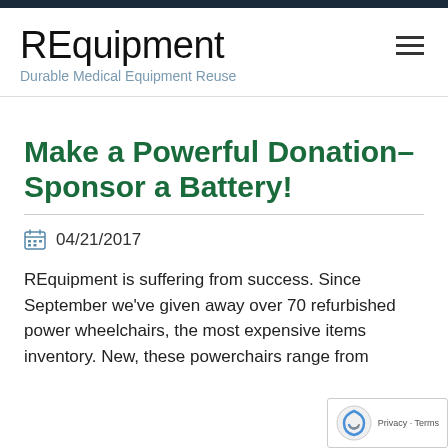REquipment — Durable Medical Equipment Reuse
Make a Powerful Donation– Sponsor a Battery!
04/21/2017
REquipment is suffering from success. Since September we've given away over 70 refurbished power wheelchairs, the most expensive items inventory. New, these powerchairs range from